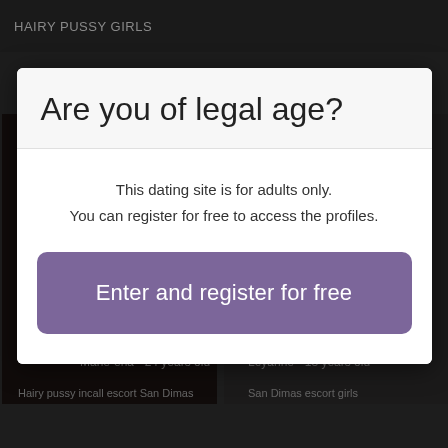HAIRY PUSSY GIRLS
Are you of legal age?
This dating site is for adults only.
You can register for free to access the profiles.
Enter and register for free
Marie-ena - 24 years old
Leyanne - 18 years old
Hairy pussy incall escort San Dimas
San Dimas escort girls